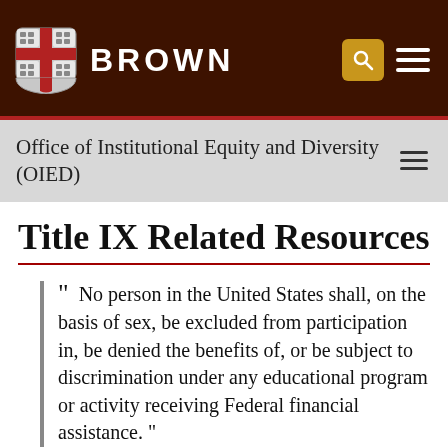BROWN
Office of Institutional Equity and Diversity (OIED)
Title IX Related Resources
“ No person in the United States shall, on the basis of sex, be excluded from participation in, be denied the benefits of, or be subject to discrimination under any educational program or activity receiving Federal financial assistance.”